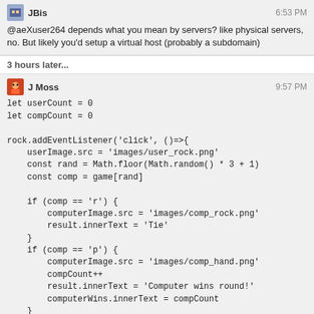JBis — 6:53 PM
@aeXuser264 depends what you mean by servers? like physical servers, no. But likely you'd setup a virtual host (probably a subdomain)
3 hours later...
J Moss — 9:57 PM
let userCount = 0
let compCount = 0

rock.addEventListener('click', ()=>{
    userImage.src = 'images/user_rock.png'
    const rand = Math.floor(Math.random() * 3 + 1)
    const comp = game[rand]

    if (comp == 'r') {
        computerImage.src = 'images/comp_rock.png'
        result.innerText = 'Tie'
    }
    if (comp == 'p') {
        computerImage.src = 'images/comp_hand.png'
        compCount++
        result.innerText = 'Computer wins round!'
        computerWins.innerText = compCount
    }
}
how come my if statement is not executed... e.g. even though userCount or compCount is ==5, it never executes the if statements
only way it works is if the if statement is inside the eventListener
← prev day | next day → | last day »
join this room